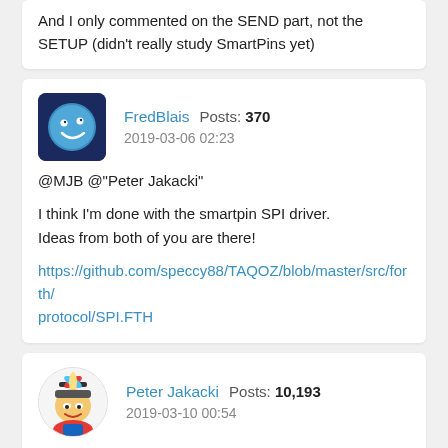And I only commented on the SEND part, not the SETUP (didn't really study SmartPins yet)
FredBlais  Posts: 370  2019-03-06 02:23
@MJB @"Peter Jakacki"

I think I'm done with the smartpin SPI driver.
Ideas from both of you are there!

https://github.com/speccy88/TAQOZ/blob/master/src/forth/protocol/SPI.FTH
Peter Jakacki  Posts: 10,193  2019-03-10 00:54